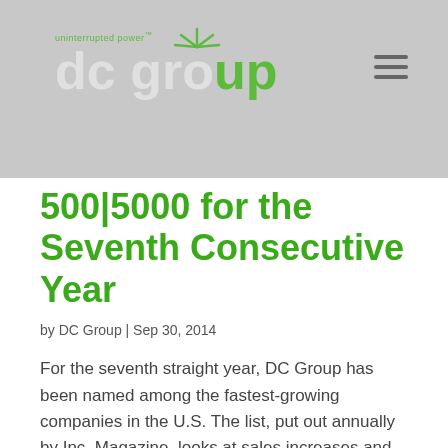dc group — uninterrupted power
500|5000 for the Seventh Consecutive Year
by DC Group | Sep 30, 2014
For the seventh straight year, DC Group has been named among the fastest-growing companies in the U.S. The list, put out annually by Inc. Magazine, looks at sales increases and pares down the top companies to both the 500 and 5000 top performers. Multiple appearances on Inc. are rare, and this year was particularly competitive. "The Inc. 5000 was harder to get on to this year